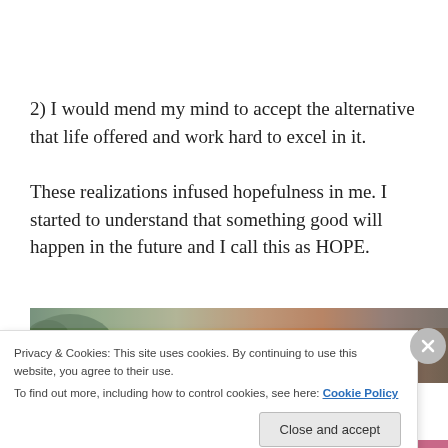2) I would mend my mind to accept the alternative that life offered and work hard to excel in it.
These realizations infused hopefulness in me. I started to understand that something good will happen in the future and I call this as HOPE.
[Figure (photo): Outdoor landscape photo showing mossy rock or terrain on the left and earthy brown/orange ground on the right]
Privacy & Cookies: This site uses cookies. By continuing to use this website, you agree to their use.
To find out more, including how to control cookies, see here: Cookie Policy
Close and accept